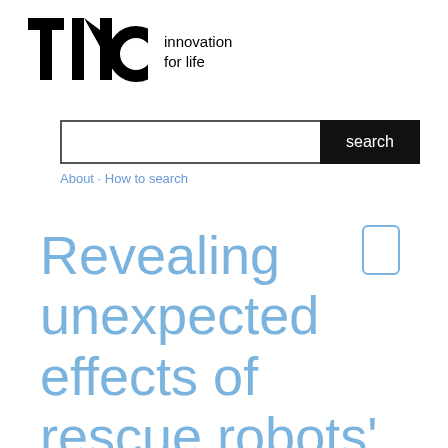[Figure (logo): TNO logo with bold black letters TNO and a circular O, followed by tagline 'innovation for life']
About · How to search
Revealing unexpected effects of rescue robots' team-membership in a virtual environment